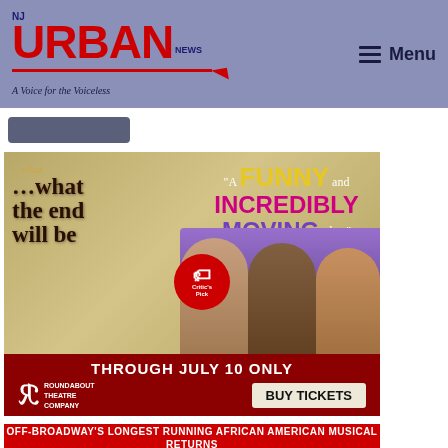[Figure (logo): NJ Urban News logo — red URBAN text with NJ superscript and NEWS in dark blue, red underline with arrow, tagline 'A Voice for the Voiceless']
Menu
[Figure (photo): Advertisement for '...what the end will be' play at Roundabout Theatre Company. Features quote 'A FUNNY and INCREDIBLY MOVING play.' —Theatermania, NY Times Critic's Pick badge, photo of three men's faces, 'THROUGH JULY 10 ONLY', Roundabout Theatre Company logo, BUY TICKETS button.]
[Figure (photo): Advertisement banner: OFF-BROADWAY'S LONGEST RUNNING AFRICAN AMERICAN MUSICAL RETURNS]